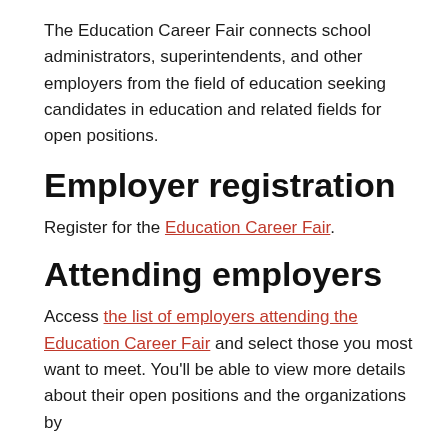The Education Career Fair connects school administrators, superintendents, and other employers from the field of education seeking candidates in education and related fields for open positions.
Employer registration
Register for the Education Career Fair.
Attending employers
Access the list of employers attending the Education Career Fair and select those you most want to meet. You'll be able to view more details about their open positions and the organizations by